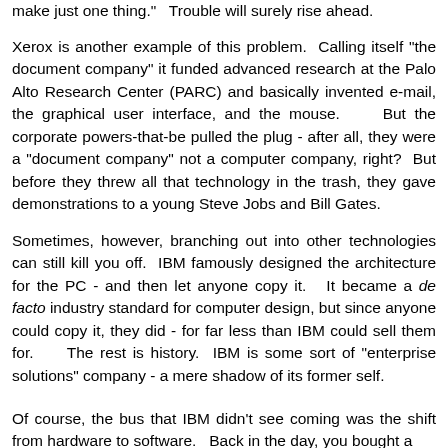make just one thing."   Trouble will surely rise ahead.
Xerox is another example of this problem.  Calling itself "the document company" it funded advanced research at the Palo Alto Research Center (PARC) and basically invented e-mail, the graphical user interface, and the mouse.    But the corporate powers-that-be pulled the plug - after all, they were a "document company" not a computer company, right?  But before they threw all that technology in the trash, they gave demonstrations to a young Steve Jobs and Bill Gates.
Sometimes, however, branching out into other technologies can still kill you off.  IBM famously designed the architecture for the PC - and then let anyone copy it.   It became a de facto industry standard for computer design, but since anyone could copy it, they did - for far less than IBM could sell them for.    The rest is history.  IBM is some sort of "enterprise solutions" company - a mere shadow of its former self.
Of course, the bus that IBM didn't see coming was the shift from hardware to software.   Back in the day, you bought a